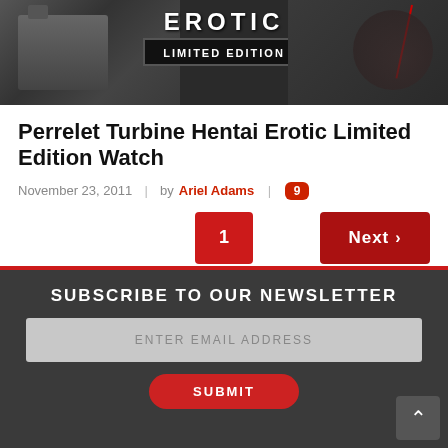[Figure (photo): Watch product image with 'LIMITED EDITION' badge overlay on dark background with decorative illustration]
Perrelet Turbine Hentai Erotic Limited Edition Watch
November 23, 2011 | by Ariel Adams | 9 comments
Pagination: 1 | Next
SUBSCRIBE TO OUR NEWSLETTER
ENTER EMAIL ADDRESS
SUBMIT